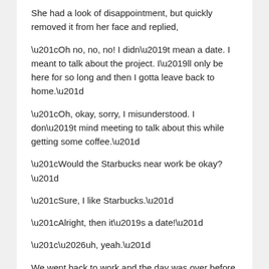She had a look of disappointment, but quickly removed it from her face and replied,
“Oh no, no, no! I didn’t mean a date. I meant to talk about the project. I’ll only be here for so long and then I gotta leave back to home.”
“Oh, okay, sorry, I misunderstood. I don’t mind meeting to talk about this while getting some coffee.”
“Would the Starbucks near work be okay?”
“Sure, I like Starbucks.”
“Alright, then it’s a date!”
“…uh, yeah.”
We went back to work and the day was over before I